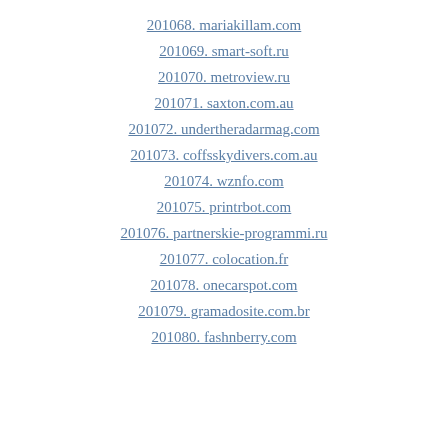201068. mariakillam.com
201069. smart-soft.ru
201070. metroview.ru
201071. saxton.com.au
201072. undertheradarmag.com
201073. coffsskydivers.com.au
201074. wznfo.com
201075. printrbot.com
201076. partnerskie-programmi.ru
201077. colocation.fr
201078. onecarspot.com
201079. gramadosite.com.br
201080. fashnberry.com